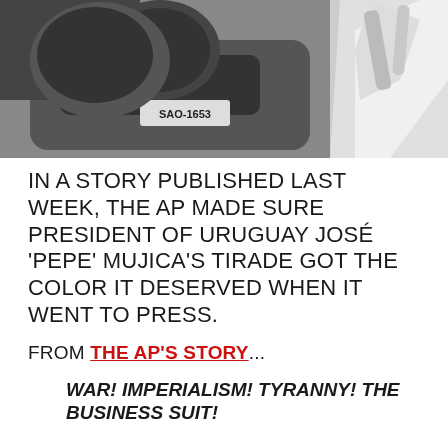[Figure (photo): Black and white photograph showing a person in a white garment next to a car with a license plate reading SAO-1653]
IN A STORY PUBLISHED LAST WEEK, THE AP MADE SURE PRESIDENT OF URUGUAY JOSÉ 'PEPE' MUJICA'S TIRADE GOT THE COLOR IT DESERVED WHEN IT WENT TO PRESS.
FROM THE AP'S STORY...
WAR! IMPERIALISM! TYRANNY! THE BUSINESS SUIT!
IN A FULL THROTTLE ATTACK ON TIES AND SUITS, URUGUAY'S PRESIDENT WENT OFF ON AN ANGRY TIRADE AT THE ECONOMIC CONGRESS FOR LATIN